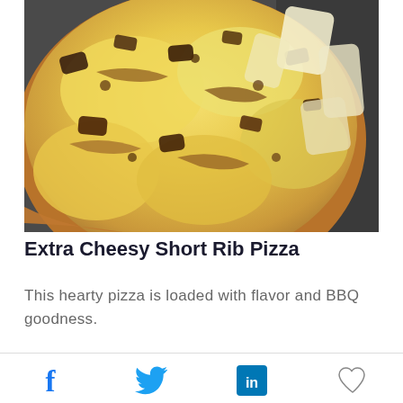[Figure (photo): Close-up photo of Extra Cheesy Short Rib Pizza with melted cheese, braised short rib pieces, and caramelized onions on a pizza crust, shot from above on a dark slate background.]
Extra Cheesy Short Rib Pizza
This hearty pizza is loaded with flavor and BBQ goodness.
[Figure (other): Social sharing icons bar: Facebook (f), Twitter (bird), LinkedIn (in), Heart/like icon]